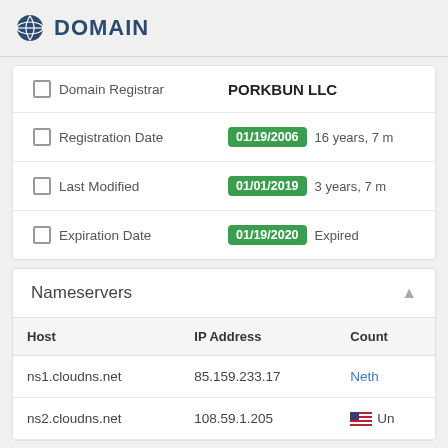DOMAIN
|  |  |
| --- | --- |
| Domain Registrar | PORKBUN LLC |
| Registration Date | 01/19/2006  16 years, 7 m |
| Last Modified | 01/01/2019  3 years, 7 m |
| Expiration Date | 01/19/2020  Expired |
Nameservers
| Host | IP Address | Count |
| --- | --- | --- |
| ns1.cloudns.net | 85.159.233.17 | Neth |
| ns2.cloudns.net | 108.59.1.205 | Un |